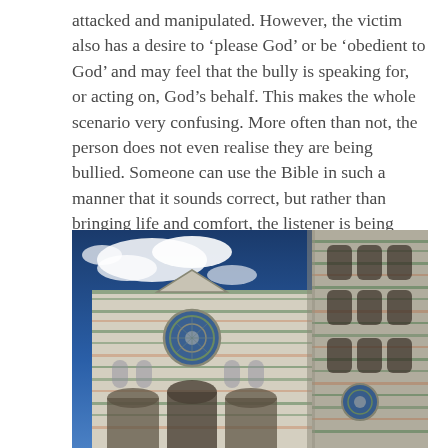attacked and manipulated. However, the victim also has a desire to ‘please God’ or be ‘obedient to God’ and may feel that the bully is speaking for, or acting on, God’s behalf. This makes the whole scenario very confusing. More often than not, the person does not even realise they are being bullied. Someone can use the Bible in such a manner that it sounds correct, but rather than bringing life and comfort, the listener is being intimidated or manipulated. In this case, faith has become toxic.
[Figure (photo): Low-angle photograph of a grand Gothic-Renaissance cathedral facade (Florence Cathedral / Duomo) with an ornate bell tower on the right, photographed against a deep blue sky with white clouds. The facade features intricate marble cladding in white, green and pink, with a large rose window, arched portals, and elaborate sculptural decoration.]